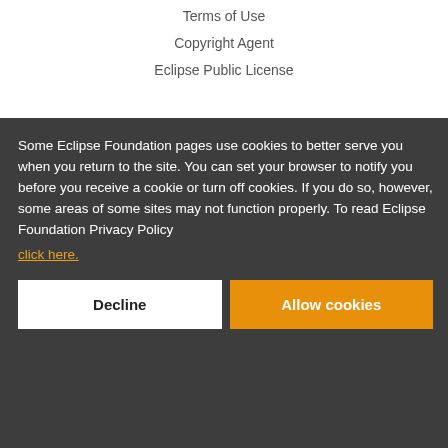Terms of Use
Copyright Agent
Eclipse Public License
Some Eclipse Foundation pages use cookies to better serve you when you return to the site. You can set your browser to notify you before you receive a cookie or turn off cookies. If you do so, however, some areas of some sites may not function properly. To read Eclipse Foundation Privacy Policy click here.
Decline
Allow cookies